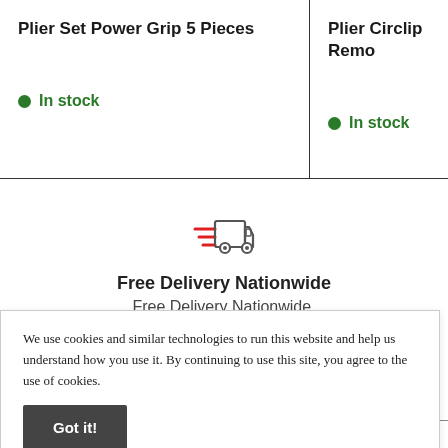Plier Set Power Grip 5 Pieces
In stock
Plier Circlip Remo
In stock
[Figure (illustration): Delivery truck icon with speed lines in red and grey]
Free Delivery Nationwide
Free Delivery Nationwide.
We use cookies and similar technologies to run this website and help us understand how you use it. By continuing to use this site, you agree to the use of cookies.
Got it!
ABOUT CAR L PARTS